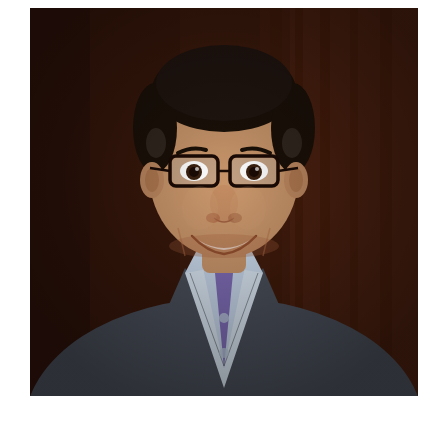[Figure (photo): Professional portrait photograph of a middle-aged South Asian man wearing glasses, a dark charcoal grey blazer, and a light blue dress shirt. He is smiling warmly at the camera. The background features a dark brown wooden surface or curtain.]